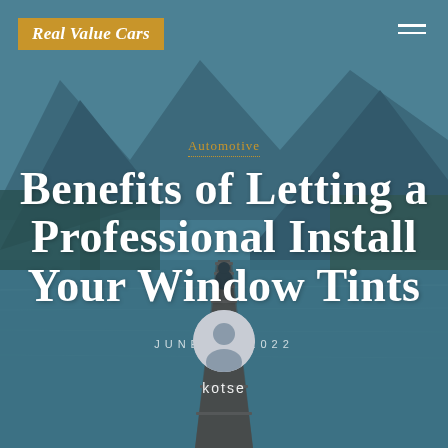[Figure (photo): Mountain lake landscape with a wooden pier extending into calm reflective water, mountains and forest in background, person sitting at end of dock, teal/blue toned overlay]
Real Value Cars
Automotive
Benefits of Letting a Professional Install Your Window Tints
JUNE 10, 2022
kotse